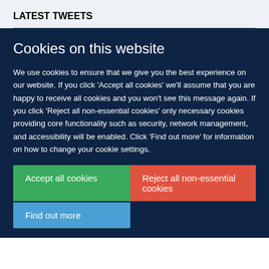LATEST TWEETS
Cookies on this website
We use cookies to ensure that we give you the best experience on our website. If you click 'Accept all cookies' we'll assume that you are happy to receive all cookies and you won't see this message again. If you click 'Reject all non-essential cookies' only necessary cookies providing core functionality such as security, network management, and accessibility will be enabled. Click 'Find out more' for information on how to change your cookie settings.
Accept all cookies
Reject all non-essential cookies
Find out more